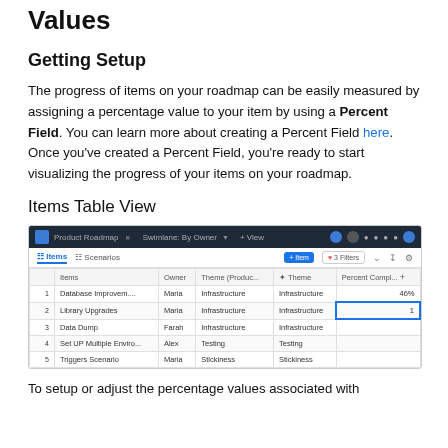Values
Getting Setup
The progress of items on your roadmap can be easily measured by assigning a percentage value to your item by using a Percent Field. You can learn more about creating a Percent Field here. Once you've created a Percent Field, you're ready to start visualizing the progress of your items on your roadmap.
Items Table View
[Figure (screenshot): Screenshot of a product roadmap table view showing items with columns: Items, Owner, Theme (Produc...), Theme, Percent Compl... with 5 rows including Database Improvem..., Library Upgrades, Data Dump, Set UP Multiple Enviro..., Triggers Scenario]
To setup or adjust the percentage values associated with